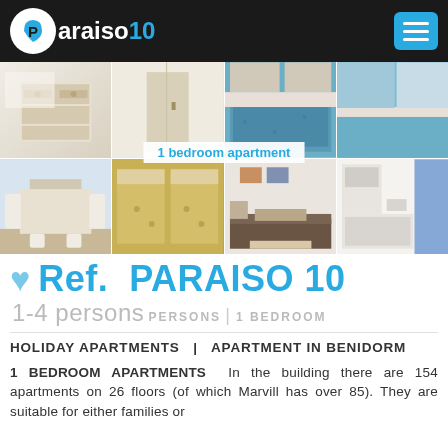Paraiso 10
[Figure (photo): Photo grid of apartment interior: furniture, bedroom with blue bedding, dining area, twin bedroom with yellow bedspreads, living/dining area, bathroom. Label overlay: '1 bedroom apartment']
♥ Ref. PARAISO 10
1-4 persons PERSONS | 1 BEDROOM
HOLIDAY APARTMENTS | APARTMENT IN BENIDORM
1 BEDROOM APARTMENTS In the building there are 154 apartments on 26 floors (of which Marvill has over 85). They are suitable for either families or